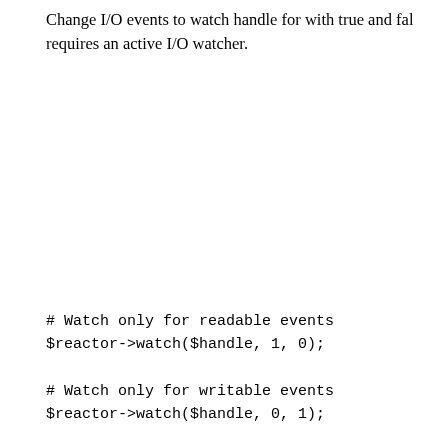Change I/O events to watch handle for with true and false requires an active I/O watcher.
# Watch only for readable events
$reactor->watch($handle, 1, 0);

# Watch only for writable events
$reactor->watch($handle, 0, 1);